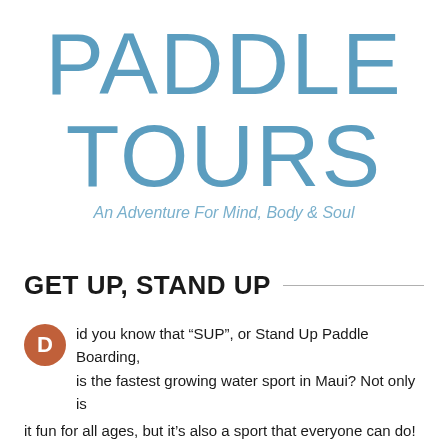PADDLE TOURS
An Adventure For Mind, Body & Soul
GET UP, STAND UP
Did you know that “SUP”, or Stand Up Paddle Boarding, is the fastest growing water sport in Maui? Not only is it fun for all ages, but it’s also a sport that everyone can do! Whether you are new to open ocean paddling, looking to freshen up your SUP skills, or just want a leisurely paddle